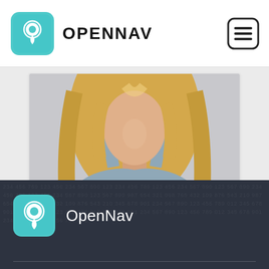OPENNAV
[Figure (photo): Cropped photo of a blonde woman wearing a gray tank top, upper body visible from chest up, light background]
[Figure (logo): OpenNav app logo: teal rounded square with white location pin icon, and the text 'OpenNav' in white next to it, on dark background footer]